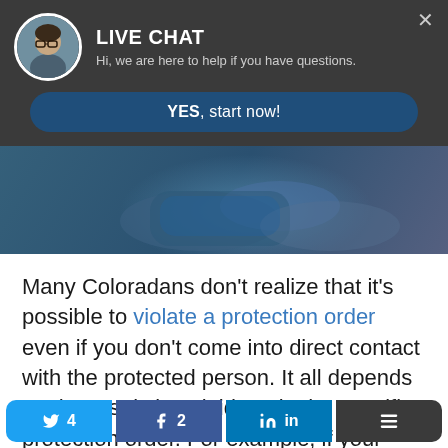[Figure (screenshot): Live chat widget header with avatar photo of woman with glasses, title LIVE CHAT, subtitle text, and YES start now button on dark background]
[Figure (photo): Hero image showing person in jeans sitting on floor hugging knees, muted blue-gray tones]
Many Coloradans don't realize that it's possible to violate a protection order even if you don't come into direct contact with the protected person. It all depends on the restrictions laid out in the specific protection order. For example, if your protection order state... v... of
[Figure (screenshot): Social share bar with Twitter (4), Facebook (2), LinkedIn, and more options buttons]